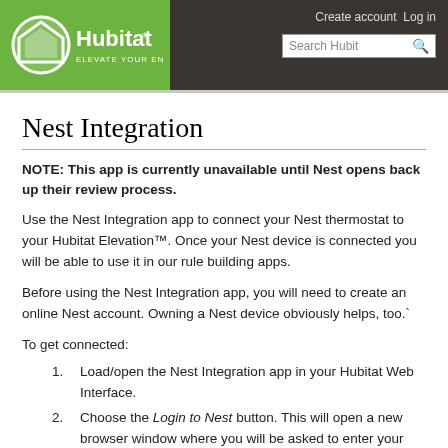Hubitat — Elevate Your Environment | Create account  Log in | Search Hubit
Nest Integration
NOTE: This app is currently unavailable until Nest opens back up their review process.
Use the Nest Integration app to connect your Nest thermostat to your Hubitat Elevation™. Once your Nest device is connected you will be able to use it in our rule building apps.
Before using the Nest Integration app, you will need to create an online Nest account. Owning a Nest device obviously helps, too.`
To get connected:
Load/open the Nest Integration app in your Hubitat Web Interface.
Choose the Login to Nest button. This will open a new browser window where you will be asked to enter your